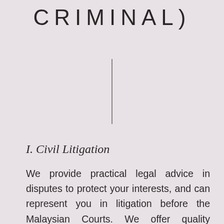CRIMINAL)
[Figure (other): A vertical thin line divider centered on the page]
I. Civil Litigation
We provide practical legal advice in disputes to protect your interests, and can represent you in litigation before the Malaysian Courts. We offer quality services to clients requiring representation across a broad spectrum